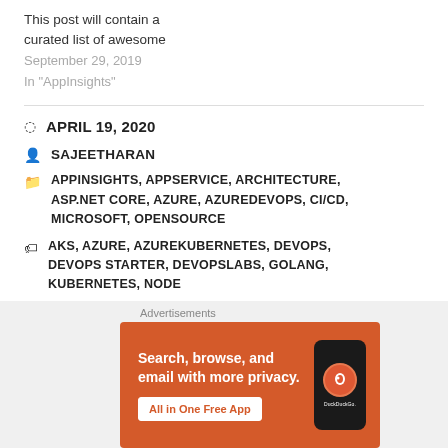This post will contain a curated list of awesome
September 29, 2019
In "AppInsights"
APRIL 19, 2020
SAJEETHARAN
APPINSIGHTS, APPSERVICE, ARCHITECTURE, ASP.NET CORE, AZURE, AZUREDEVOPS, CI/CD, MICROSOFT, OPENSOURCE
AKS, AZURE, AZUREKUBERNETES, DEVOPS, DEVOPS STARTER, DEVOPSLABS, GOLANG, KUBERNETES, NODE
[Figure (screenshot): DuckDuckGo advertisement banner: 'Search, browse, and email with more privacy. All in One Free App' with phone mockup showing DuckDuckGo logo]